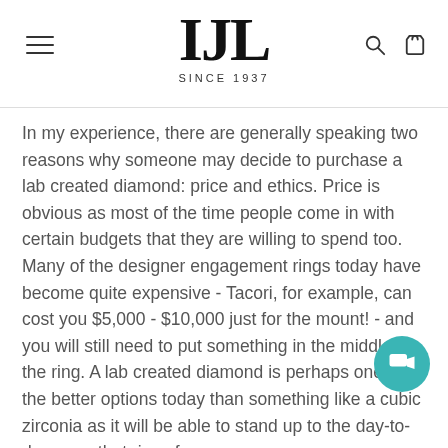IJL SINCE 1937
In my experience, there are generally speaking two reasons why someone may decide to purchase a lab created diamond: price and ethics. Price is obvious as most of the time people come in with certain budgets that they are willing to spend too. Many of the designer engagement rings today have become quite expensive - Tacori, for example, can cost you $5,000 - $10,000 just for the mount! - and you will still need to put something in the middle of the ring. A lab created diamond is perhaps one of the better options today than something like a cubic zirconia as it will be able to stand up to the day-to-day wear that rings face.
Ethics is the other reason I have heard that people will